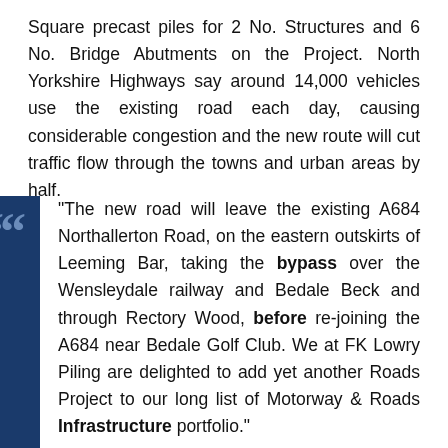Square precast piles for 2 No. Structures and 6 No. Bridge Abutments on the Project. North Yorkshire Highways say around 14,000 vehicles use the existing road each day, causing considerable congestion and the new route will cut traffic flow through the towns and urban areas by half.
“The new road will leave the existing A684 Northallerton Road, on the eastern outskirts of Leeming Bar, taking the bypass over the Wensleydale railway and Bedale Beck and through Rectory Wood, before re-joining the A684 near Bedale Golf Club. We at FK Lowry Piling are delighted to add yet another Roads Project to our long list of Motorway & Roads Infrastructure portfolio.”